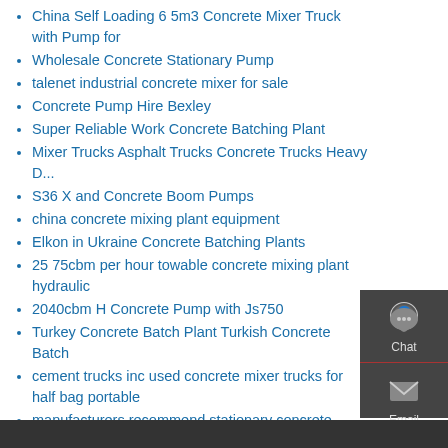China Self Loading 6 5m3 Concrete Mixer Truck with Pump for
Wholesale Concrete Stationary Pump
talenet industrial concrete mixer for sale
Concrete Pump Hire Bexley
Super Reliable Work Concrete Batching Plant
Mixer Trucks Asphalt Trucks Concrete Trucks Heavy D...
S36 X and Concrete Boom Pumps
china concrete mixing plant equipment
Elkon in Ukraine Concrete Batching Plants
25 75cbm per hour towable concrete mixing plant hydraulic
2040cbm H Concrete Pump with Js750
Turkey Concrete Batch Plant Turkish Concrete Batch
cement trucks inc used concrete mixer trucks for half bag portable
manufacturers recommend stationary concrete pump
Portable Concrete Plant For Sale In Lugano agno ✳ RMC Plant
[Figure (infographic): Sidebar with Chat, Email, Contact, and Top navigation buttons on dark grey background]